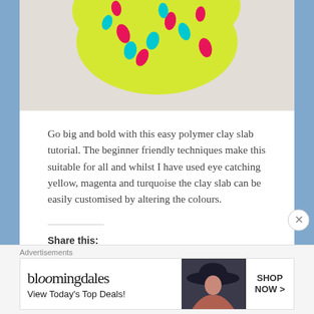[Figure (photo): Top portion of a colorful polymer clay slab showing a yellow shape with magenta and teal/turquoise dot patterns on a light textured background]
Go big and bold with this easy polymer clay slab tutorial. The beginner friendly techniques make this suitable for all and whilst I have used eye catching yellow, magenta and turquoise the clay slab can be easily customised by altering the colours.
Share this:
Tweet | Email | Save | 93
Loading...
Advertisements
[Figure (photo): Bloomingdales advertisement banner: logo text 'bloomingdales', tagline 'View Today's Top Deals!', woman in hat image, 'SHOP NOW >' button]